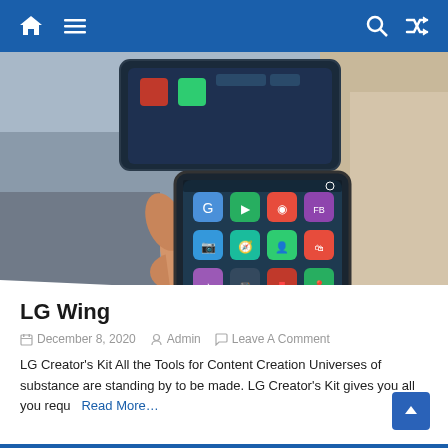Navigation bar with home, menu, search, and shuffle icons
[Figure (photo): A person's hand holding an LG Wing dual-screen smartphone showing app icons on the lower rotating screen, with the upper screen visible in the background]
LG Wing
December 8, 2020  Admin  Leave A Comment
LG Creator's Kit All the Tools for Content Creation Universes of substance are standing by to be made. LG Creator's Kit gives you all you requ   Read More…